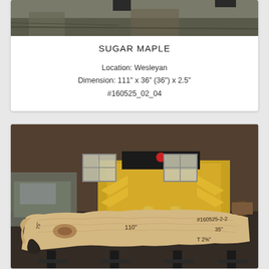[Figure (photo): Partial aerial or ground-level outdoor photo of a log or lumber yard, cropped at top edge]
SUGAR MAPLE
Location: Wesleyan
Dimension: 111" x 36" (36") x 2.5"
#160525_02_04
[Figure (photo): Photo of a large live-edge sugar maple wood slab on sawhorses/stands outdoors, with a yellow sawmill machine and barn-style building in background. Handwritten measurements visible on the slab: #160525-2-2, 75", 110", 35", T 2 5/8"]